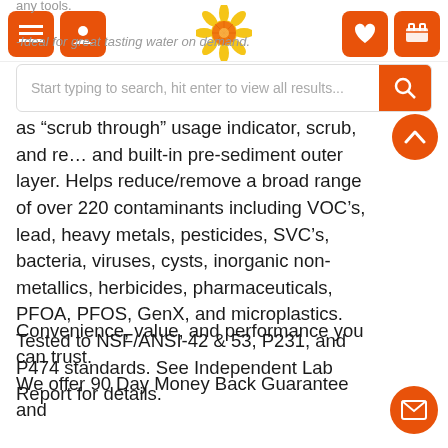any tools. [nav bar with logo, search, icons]
any tools.
-Ideal for great tasting water on demand.
as “scrub through” usage indicator, scrub, and re… and built-in pre-sediment outer layer. Helps reduce/remove a broad range of over 220 contaminants including VOC’s, lead, heavy metals, pesticides, SVC’s, bacteria, viruses, cysts, inorganic non-metallics, herbicides, pharmaceuticals, PFOA, PFOS, GenX, and microplastics. Tested to NSF/ANSI-42 & 53, P231, and P474 standards. See Independent Lab Report for details.
Convenience, value, and performance you can trust.
We offer 90 Day Money Back Guarantee and…